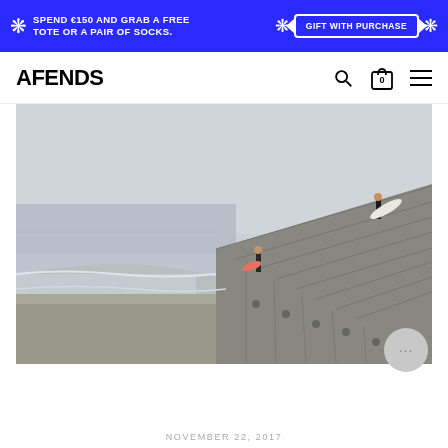SPEND €150 AND GRAB A FREE TOTE OR A PAIR OF SOCKS. | GIFT WITH PURCHASE
AFENDS
[Figure (photo): Two surfers on a concrete breakwater/jetty at a beach on an overcast day. One stands near the water's edge holding a surfboard, another walks up the stepped jetty carrying a white surfboard. The beach and ocean are visible to the left with gentle waves.]
NOVEMBER 22, 2017